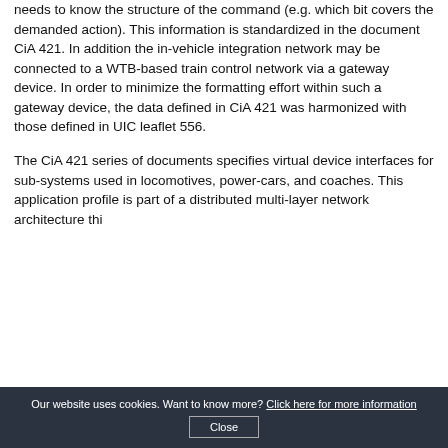needs to know the structure of the command (e.g. which bit covers the demanded action). This information is standardized in the document CiA 421. In addition the in-vehicle integration network may be connected to a WTB-based train control network via a gateway device. In order to minimize the formatting effort within such a gateway device, the data defined in CiA 421 was harmonized with those defined in UIC leaflet 556.
The CiA 421 series of documents specifies virtual device interfaces for sub-systems used in locomotives, power-cars, and coaches. This application profile is part of a distributed multi-layer network architecture this
Our website uses cookies. Want to know more? Click here for more information  Close